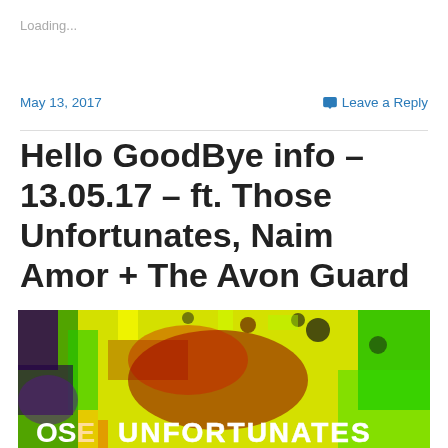Loading...
May 13, 2017
Leave a Reply
Hello GoodBye info – 13.05.17 – ft. Those Unfortunates, Naim Amor + The Avon Guard
[Figure (photo): Colorful psychedelic/distorted photo with bright yellow, green, red, purple colors. Text partially visible at bottom reading 'THOSE UNFORTUNATES']